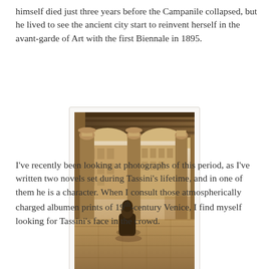himself died just three years before the Campanile collapsed, but he lived to see the ancient city start to reinvent herself in the avant-garde of Art with the first Biennale in 1895.
[Figure (photo): Sepia-toned historical photograph of a Venetian arcade or loggia with tall stone columns and arches. Through the arches, a canal-side building is visible. A seated figure in dark robes is in the foreground on stone pavement.]
I've recently been looking at photographs of this period, as I've written two novels set during Tassini's lifetime, and in one of them he is a character. When I consult those atmospherically charged albumen prints of 19th-century Venice, I find myself looking for Tassini's face in the crowd.